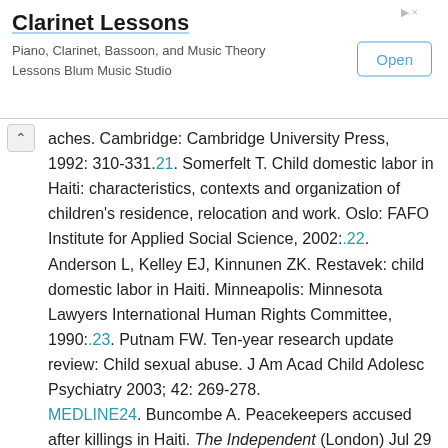[Figure (screenshot): Advertisement banner for Clarinet Lessons — Blum Music Studio, with an Open button]
aches. Cambridge: Cambridge University Press, 1992: 310-331.21. Somerfelt T. Child domestic labor in Haiti: characteristics, contexts and organization of children's residence, relocation and work. Oslo: FAFO Institute for Applied Social Science, 2002:.22. Anderson L, Kelley EJ, Kinnunen ZK. Restavek: child domestic labor in Haiti. Minneapolis: Minnesota Lawyers International Human Rights Committee, 1990:.23. Putnam FW. Ten-year research update review: Child sexual abuse. J Am Acad Child Adolesc Psychiatry 2003; 42: 269-278. MEDLINE24. Buncombe A. Peacekeepers accused after killings in Haiti. The Independent (London) Jul 29 2005; 33.25. British Broadcasting Corporation. Brazil report. UN troops accused of rights violations in Haiti http://www.bbc.com/index.htm(Nov 22, 2005).26. Buncombe A. UN admits Haiti force is not up to the job it faces. The Independent (London) Jul 30 2005; 30. The Lancet can be